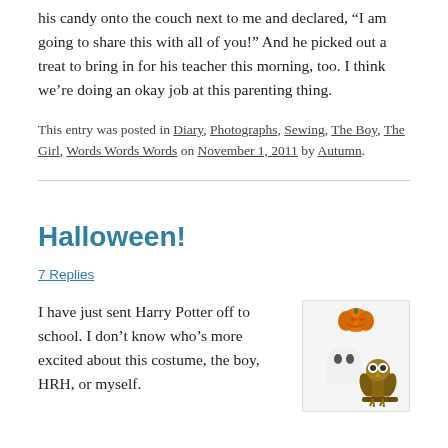his candy onto the couch next to me and declared, “I am going to share this with all of you!” And he picked out a treat to bring in for his teacher this morning, too. I think we’re doing an okay job at this parenting thing.
This entry was posted in Diary, Photographs, Sewing, The Boy, The Girl, Words Words Words on November 1, 2011 by Autumn.
Halloween!
7 Replies
I have just sent Harry Potter off to school. I don’t know who’s more excited about this costume, the boy, HRH, or myself.
[Figure (illustration): Halloween-themed figurines: a pumpkin on top, a white ghost in the middle, and a brown owl at the bottom right.]